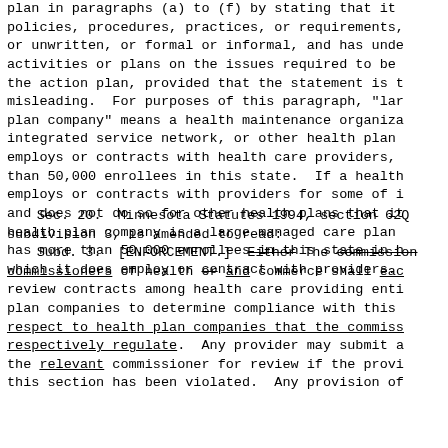plan in paragraphs (a) to (f) by stating that it policies, procedures, practices, or requirements, or unwritten, or formal or informal, and has unde activities or plans on the issues required to be the action plan, provided that the statement is t misleading.  For purposes of this paragraph, "lar plan company" means a health maintenance organiza integrated service network, or other health plan employs or contracts with health care providers, than 50,000 enrollees in this state.  If a health employs or contracts with providers for some of i and does not do so for other health plans that it health plan company is a large managed care plan has more than 50,000 enrollees in this state in h which it does employ or contract with providers.
Sec. 20.  Minnesota Statutes 1994, section 62Q subdivision 3, is amended to read:
Subd. 3.  [ENFORCEMENT.]  Either The commission commissioners of health or and commerce shall eac review contracts among health care providing enti plan companies to determine compliance with this respect to health plan companies that the commiss respectively regulate.  Any provider may submit a the relevant commissioner for review if the provi this section has been violated.  Any provision of